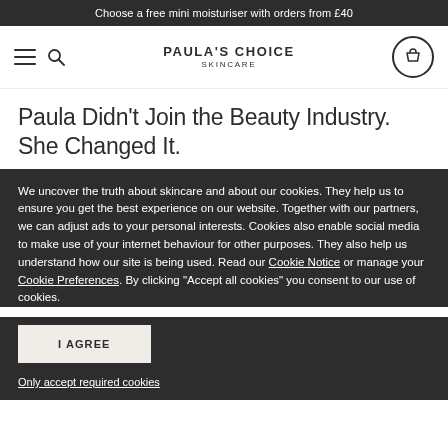Choose a free mini moisturiser with orders from £40
[Figure (logo): Paula's Choice Skincare logo with hamburger menu and search icon on left, cart icon on right]
Paula Didn't Join the Beauty Industry. She Changed It.
We uncover the truth about skincare and about our cookies. They help us to ensure you get the best experience on our website. Together with our partners, we can adjust ads to your personal interests. Cookies also enable social media to make use of your internet behaviour for other purposes. They also help us understand how our site is being used. Read our Cookie Notice or manage your Cookie Preferences. By clicking "Accept all cookies" you consent to our use of cookies.
I AGREE
Only accept required cookies